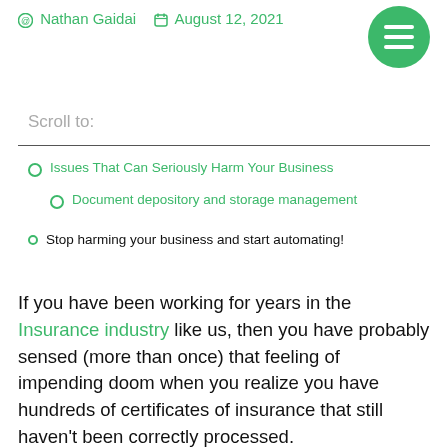@ Nathan Gaidai   August 12, 2021
Scroll to:
Issues That Can Seriously Harm Your Business
Document depository and storage management
Stop harming your business and start automating!
If you have been working for years in the Insurance industry like us, then you have probably sensed (more than once) that feeling of impending doom when you realize you have hundreds of certificates of insurance that still haven't been correctly processed.